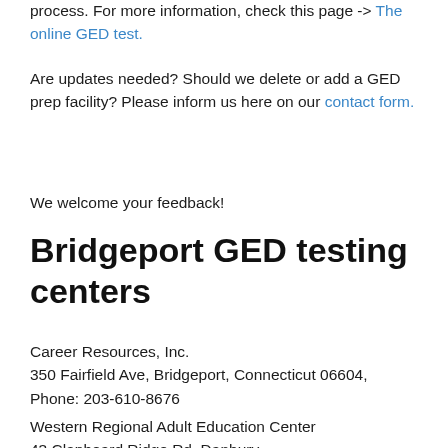process. For more information, check this page -> The online GED test.
Are updates needed? Should we delete or add a GED prep facility? Please inform us here on our contact form.
We welcome your feedback!
Bridgeport GED testing centers
Career Resources, Inc.
350 Fairfield Ave, Bridgeport, Connecticut 06604, Phone: 203-610-8676
Western Regional Adult Education Center
43 Clapboard Ridge Rd, Danbury,